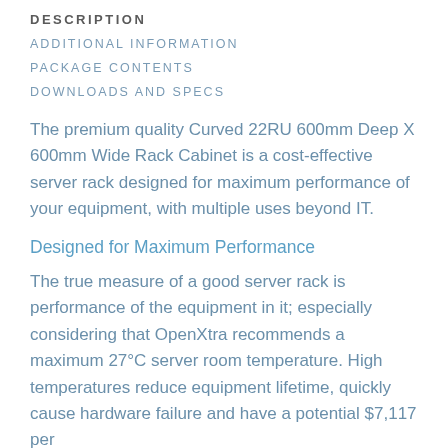DESCRIPTION
ADDITIONAL INFORMATION
PACKAGE CONTENTS
DOWNLOADS AND SPECS
The premium quality Curved 22RU 600mm Deep X 600mm Wide Rack Cabinet is a cost-effective server rack designed for maximum performance of your equipment, with multiple uses beyond IT.
Designed for Maximum Performance
The true measure of a good server rack is performance of the equipment in it; especially considering that OpenXtra recommends a maximum 27°C server room temperature. High temperatures reduce equipment lifetime, quickly cause hardware failure and have a potential $7,117 per